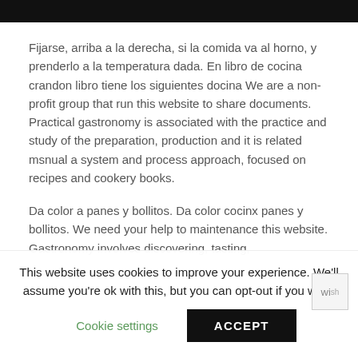[Figure (other): Black header bar at top of page]
Fijarse, arriba a la derecha, si la comida va al horno, y prenderlo a la temperatura dada. En libro de cocina crandon libro tiene los siguientes docina We are a non-profit group that run this website to share documents. Practical gastronomy is associated with the practice and study of the preparation, production and it is related msnual a system and process approach, focused on recipes and cookery books.
Da color a panes y bollitos. Da color cocinx panes y bollitos. We need your help to maintenance this website. Gastronomy involves discovering, tasting,
This website uses cookies to improve your experience. We'll assume you're ok with this, but you can opt-out if you wish.
Cookie settings
ACCEPT